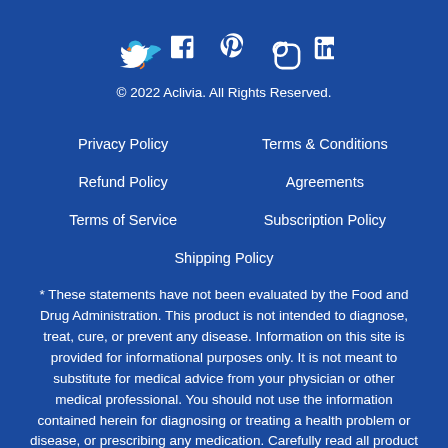[Figure (other): Social media icons: Twitter, Facebook, Pinterest, Instagram, LinkedIn]
© 2022 Aclivia. All Rights Reserved.
Privacy Policy
Terms & Conditions
Refund Policy
Agreements
Terms of Service
Subscription Policy
Shipping Policy
* These statements have not been evaluated by the Food and Drug Administration. This product is not intended to diagnose, treat, cure, or prevent any disease. Information on this site is provided for informational purposes only. It is not meant to substitute for medical advice from your physician or other medical professional. You should not use the information contained herein for diagnosing or treating a health problem or disease, or prescribing any medication. Carefully read all product documentation. If you have or